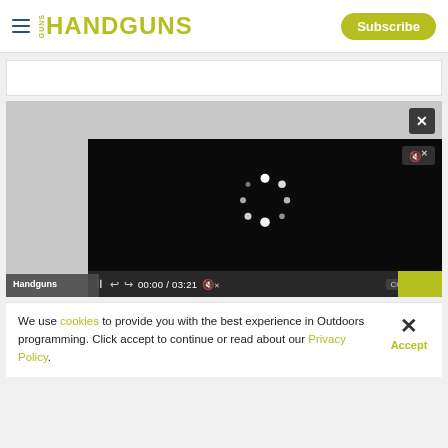HANDGUNS — Subscribe
[Figure (screenshot): Video player showing Handguns video, loading spinner, controls bar with 00:00 / 03:21 timestamp, mute icon, CC, settings, and fullscreen buttons]
We use cookies to provide you with the best experience in Outdoors programming. Click accept to continue or read about our Privacy Policy.